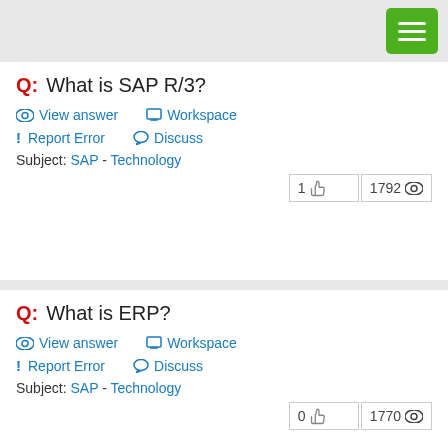[Figure (other): Green hamburger menu button in top right corner]
Q: What is SAP R/3?
View answer   Workspace   Report Error   Discuss
Subject: SAP - Technology
1 👍  1792 👁
Q: What is ERP?
View answer   Workspace   Report Error   Discuss
Subject: SAP - Technology
0 👍  1770 👁